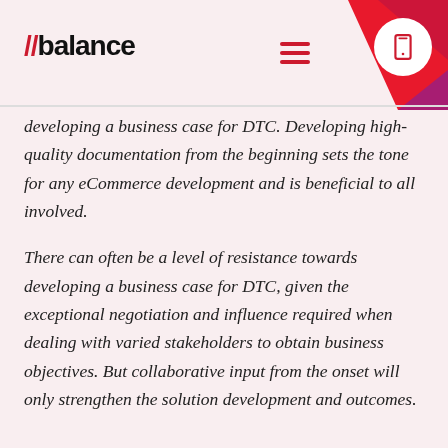//balance
developing a business case for DTC. Developing high-quality documentation from the beginning sets the tone for any eCommerce development and is beneficial to all involved.
There can often be a level of resistance towards developing a business case for DTC, given the exceptional negotiation and influence required when dealing with varied stakeholders to obtain business objectives. But collaborative input from the onset will only strengthen the solution development and outcomes.